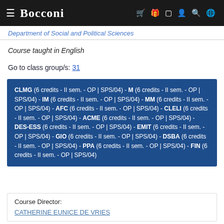Bocconi
Department of Social and Political Sciences
Course taught in English
Go to class group/s: 31
CLMG (6 credits - II sem. - OP | SPS/04) - M (6 credits - II sem. - OP | SPS/04) - IM (6 credits - II sem. - OP | SPS/04) - MM (6 credits - II sem. - OP | SPS/04) - AFC (6 credits - II sem. - OP | SPS/04) - CLELI (6 credits - II sem. - OP | SPS/04) - ACME (6 credits - II sem. - OP | SPS/04) - DES-ESS (6 credits - II sem. - OP | SPS/04) - EMIT (6 credits - II sem. - OP | SPS/04) - GIO (6 credits - II sem. - OP | SPS/04) - DSBA (6 credits - II sem. - OP | SPS/04) - PPA (6 credits - II sem. - OP | SPS/04) - FIN (6 credits - II sem. - OP | SPS/04)
Course Director: CATHERINE EUNICE DE VRIES